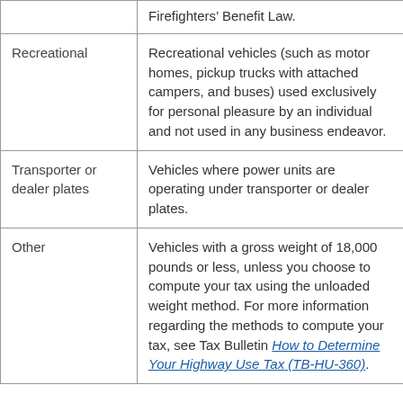| Category | Description |
| --- | --- |
|  | Firefighters' Benefit Law. |
| Recreational | Recreational vehicles (such as motor homes, pickup trucks with attached campers, and buses) used exclusively for personal pleasure by an individual and not used in any business endeavor. |
| Transporter or dealer plates | Vehicles where power units are operating under transporter or dealer plates. |
| Other | Vehicles with a gross weight of 18,000 pounds or less, unless you choose to compute your tax using the unloaded weight method. For more information regarding the methods to compute your tax, see Tax Bulletin How to Determine Your Highway Use Tax (TB-HU-360). |